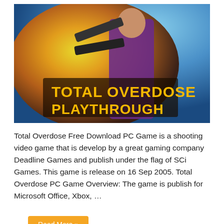[Figure (screenshot): Total Overdose Playthrough game cover art showing a character with guns and the text 'Total Overdose Playthrough' in yellow stylized font against an explosion background]
Total Overdose Free Download PC Game is a shooting video game that is develop by a great gaming company Deadline Games and publish under the flag of SCi Games. This game is release on 16 Sep 2005. Total Overdose PC Game Overview: The game is publish for Microsoft Office, Xbox, …
Read More »
[Figure (infographic): Social share buttons: Facebook (blue), Twitter (light blue), StumbleUpon (red), LinkedIn (light blue), Pinterest (red)]
Fallout New Vegas Download Free PC Game